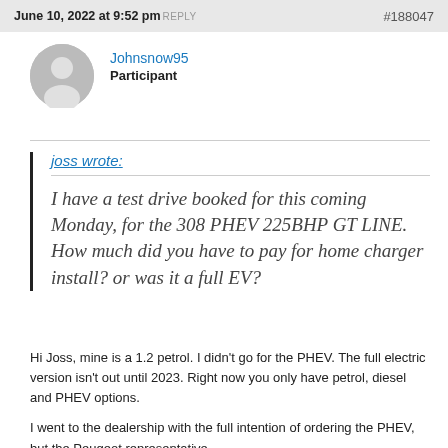June 10, 2022 at 9:52 pm REPLY #188047
Johnsnow95
Participant
joss wrote:
I have a test drive booked for this coming Monday, for the 308 PHEV 225BHP GT LINE. How much did you have to pay for home charger install? or was it a full EV?
Hi Joss, mine is a 1.2 petrol. I didn't go for the PHEV. The full electric version isn't out until 2023. Right now you only have petrol, diesel and PHEV options.
I went to the dealership with the full intention of ordering the PHEV, but the Peugeot representative